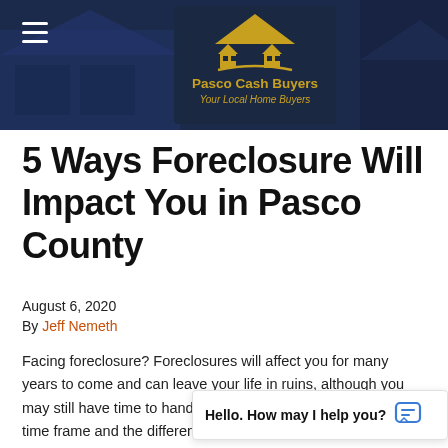[Figure (logo): Pasco Cash Buyers logo with golden house icon on dark blue banner background with house photo. Hamburger menu icon on left. Logo shows golden roof/house silhouette, text 'Pasco Cash Buyers' and 'Your Local Home Buyers' in gold italic.]
5 Ways Foreclosure Will Impact You in Pasco County
August 6, 2020
By Jeff Nemeth
Facing foreclosure? Foreclosures will affect you for many years to come and can leave your life in ruins, although you may still have time to handle this situation. When you learn the time frame and the different steps of foreclosure and compare that with what [obscured by chat] from your lender, this wi[ll]
Hello. How may I help you?